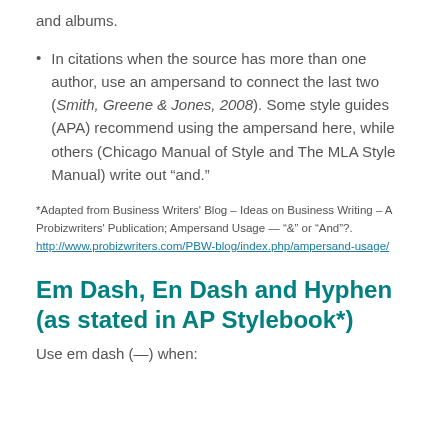and albums.
In citations when the source has more than one author, use an ampersand to connect the last two (Smith, Greene & Jones, 2008). Some style guides (APA) recommend using the ampersand here, while others (Chicago Manual of Style and The MLA Style Manual) write out “and.”
*Adapted from Business Writers' Blog – Ideas on Business Writing – A Probizwriters' Publication; Ampersand Usage — “&” or “And”?. http://www.probizwriters.com/PBW-blog/index.php/ampersand-usage/
Em Dash, En Dash and Hyphen (as stated in AP Stylebook*)
Use em dash (—) when: